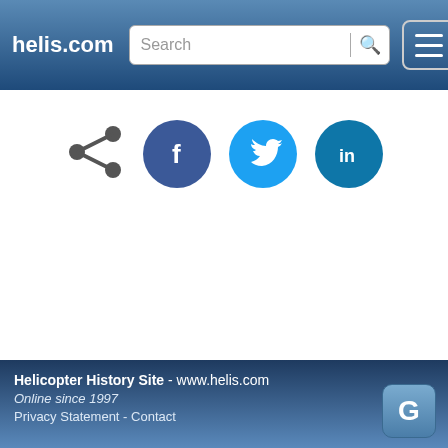helis.com | Search | [menu]
[Figure (infographic): Share icon (dark grey) followed by Facebook (blue circle with f), Twitter (cyan circle with bird), and LinkedIn (teal circle with in) social media icons]
Helicopter History Site - www.helis.com
Online since 1997
Privacy Statement - Contact